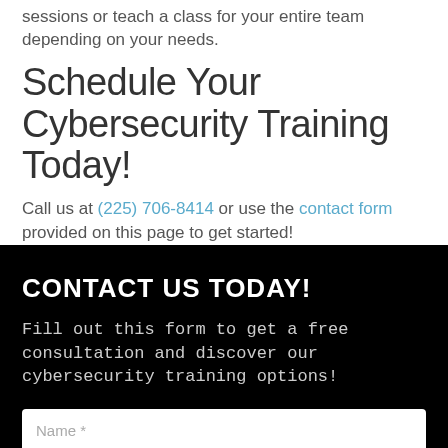Puryear IT can accommodate individual employee sessions or teach a class for your entire team depending on your needs.
Schedule Your Cybersecurity Training Today!
Call us at (225) 706-8414 or use the contact form provided on this page to get started!
CONTACT US TODAY!
Fill out this form to get a free consultation and discover our cybersecurity training options!
[Figure (other): Contact form with Name field input and partial Email field input visible]